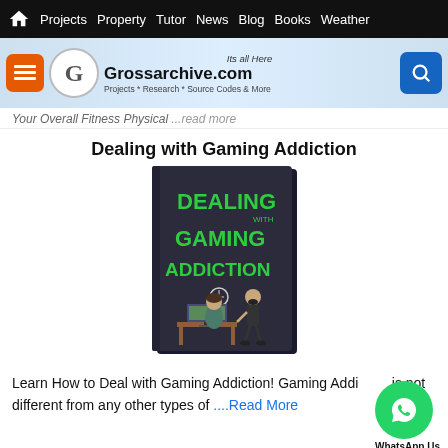Projects | Property | Tutor | News | Blog | Books | Weather
[Figure (logo): Grossarchive.com logo with menu button, orange button, G circle logo, site name and search button]
Your Overall Fitness Physical ...read more
Dealing with Gaming Addiction
[Figure (illustration): Book cover: Dealing with Gaming Addiction - dark cover with green bold text and cartoon of person at computer with another standing behind]
Learn How to Deal with Gaming Addiction! Gaming Addiction is not different from any other types of ....Read More
Overall Health